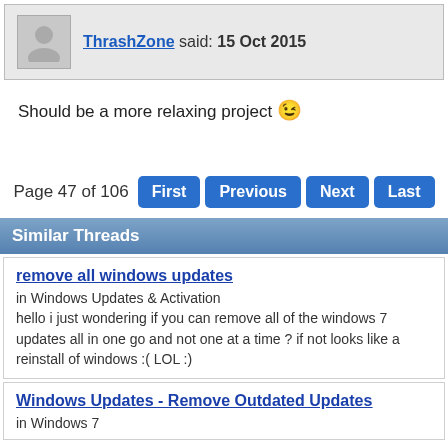ThrashZone said: 15 Oct 2015
Should be a more relaxing project 😉
Page 47 of 106  First  Previous  Next  Last
Similar Threads
remove all windows updates
in Windows Updates & Activation
hello i just wondering if you can remove all of the windows 7 updates all in one go and not one at a time ? if not looks like a reinstall of windows :( LOL :)
Windows Updates - Remove Outdated Updates
in Windows 7